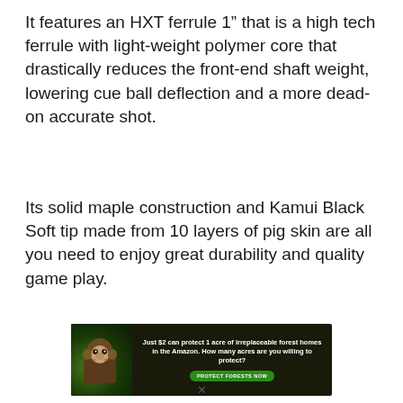It features an HXT ferrule 1” that is a high tech ferrule with light-weight polymer core that drastically reduces the front-end shaft weight, lowering cue ball deflection and a more dead-on accurate shot.
Its solid maple construction and Kamui Black Soft tip made from 10 layers of pig skin are all you need to enjoy great durability and quality game play.
[Figure (other): Advertisement banner: dark forest/Amazon background with an orangutan image on the left. Text reads: 'Just $2 can protect 1 acre of irreplaceable forest homes in the Amazon. How many acres are you willing to protect?' with a green button labeled 'PROTECT FORESTS NOW']
×